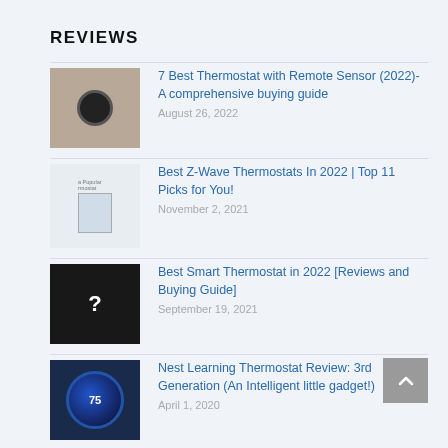REVIEWS
7 Best Thermostat with Remote Sensor (2022)- A comprehensive buying guide
Best Z-Wave Thermostats In 2022 | Top 11 Picks for You!
Best Smart Thermostat in 2022 [Reviews and Buying Guide]
Nest Learning Thermostat Review: 3rd Generation (An Intelligent little gadget!)
Honeywell LYRIC Thermostat: Review (Comparatively Better & Cheaper)